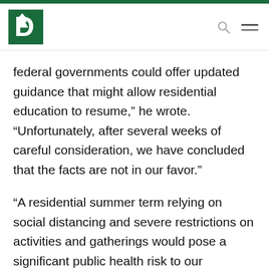Dartmouth College
federal governments could offer updated guidance that might allow residential education to resume,” he wrote. “Unfortunately, after several weeks of careful consideration, we have concluded that the facts are not in our favor.”
“A residential summer term relying on social distancing and severe restrictions on activities and gatherings would pose a significant public health risk to our